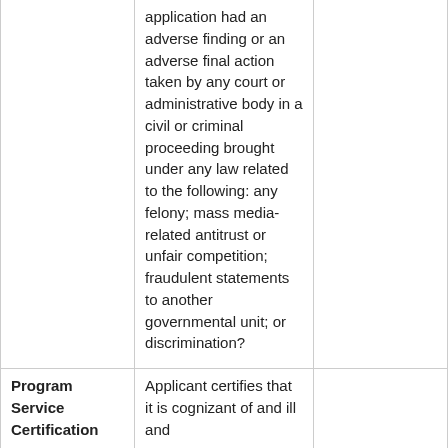|  | application had an adverse finding or an adverse final action taken by any court or administrative body in a civil or criminal proceeding brought under any law related to the following: any felony; mass media-related antitrust or unfair competition; fraudulent statements to another governmental unit; or discrimination? |  |
| Program Service Certification | Applicant certifies that it is cognizant of and will comply… |  |